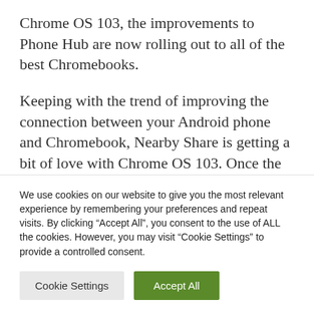Chrome OS 103, the improvements to Phone Hub are now rolling out to all of the best Chromebooks.
Keeping with the trend of improving the connection between your Android phone and Chromebook, Nearby Share is getting a bit of love with Chrome OS 103. Once the update is installed, you can use Nearby Share in order to quickly connect any Chromebook to a
We use cookies on our website to give you the most relevant experience by remembering your preferences and repeat visits. By clicking “Accept All”, you consent to the use of ALL the cookies. However, you may visit “Cookie Settings” to provide a controlled consent.